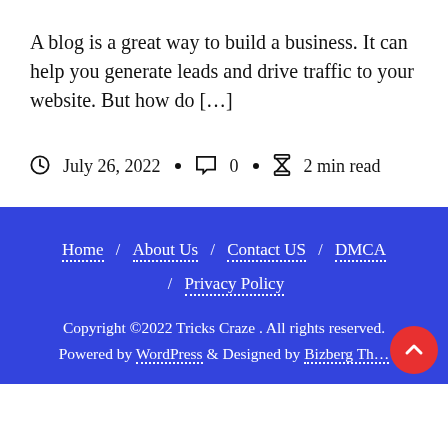A blog is a great way to build a business. It can help you generate leads and drive traffic to your website. But how do […]
July 26, 2022 · 0 · 2 min read
Home / About Us / Contact US / DMCA / Privacy Policy
Copyright ©2022 Tricks Craze . All rights reserved.
Powered by WordPress & Designed by Bizberg Th…